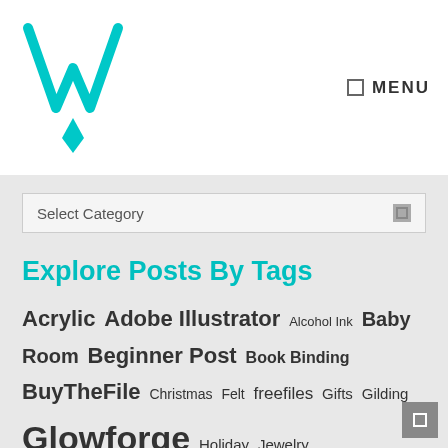[Figure (logo): Teal/cyan stylized W logo with diamond shape at bottom]
MENU
Select Category
Explore Posts By Tags
Acrylic  Adobe Illustrator  Alcohol Ink  Baby Room  Beginner Post  Book Binding  BuyTheFile  Christmas  Felt  freefiles  Gifts  Gilding  Glowforge  Holiday  Jewelry